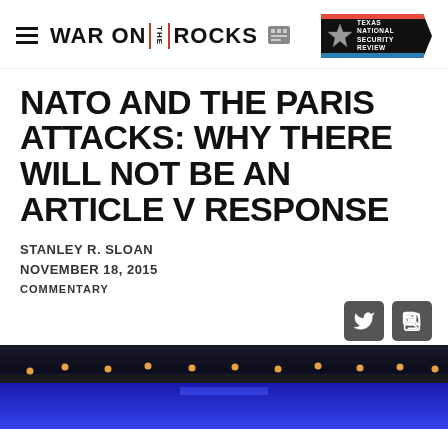WAR ON THE ROCKS
NATO AND THE PARIS ATTACKS: WHY THERE WILL NOT BE AN ARTICLE V RESPONSE
STANLEY R. SLOAN
NOVEMBER 18, 2015
COMMENTARY
[Figure (photo): Dark stage with blue lighting and small stage lights visible along the top edge of a stage platform]